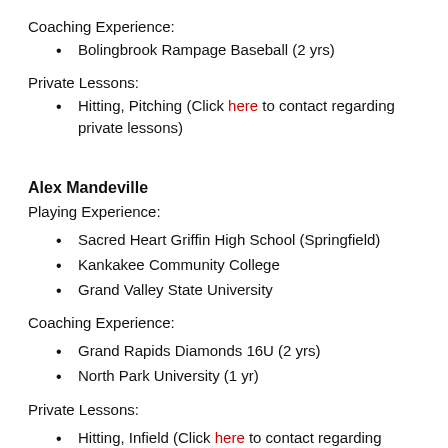Coaching Experience:
Bolingbrook Rampage Baseball (2 yrs)
Private Lessons:
Hitting, Pitching (Click here to contact regarding private lessons)
Alex Mandeville
Playing Experience:
Sacred Heart Griffin High School (Springfield)
Kankakee Community College
Grand Valley State University
Coaching Experience:
Grand Rapids Diamonds 16U (2 yrs)
North Park University (1 yr)
Private Lessons:
Hitting, Infield (Click here to contact regarding private